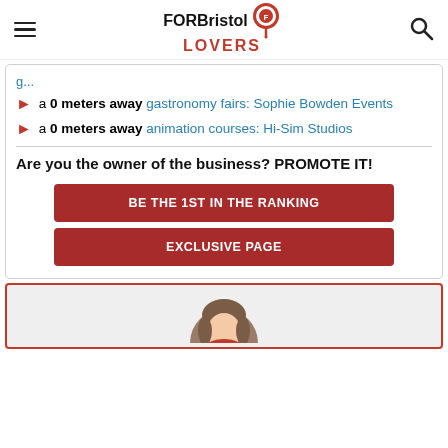FOR Bristol LOVERS
a 0 meters away gastronomy fairs: Sophie Bowden Events
a 0 meters away animation courses: Hi-Sim Studios
Are you the owner of the business? PROMOTE IT!
BE THE 1ST IN THE RANKING
EXCLUSIVE PAGE
[Figure (illustration): Circular avatar illustration of a person with brown hair, partially visible at the bottom of the page]